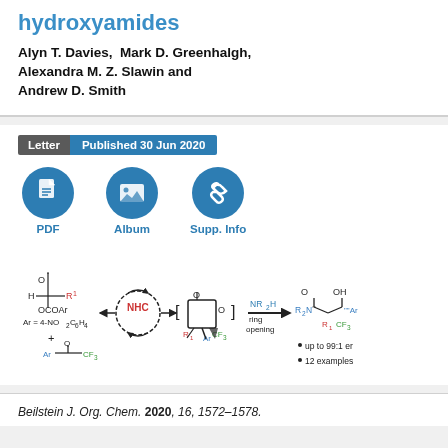hydroxyamides
Alyn T. Davies, Mark D. Greenhalgh, Alexandra M. Z. Slawin and Andrew D. Smith
Letter | Published 30 Jun 2020
[Figure (infographic): Three icon buttons: PDF (document icon), Album (image icon), Supp. Info (paperclip icon), all on dark blue circles with blue labels]
[Figure (schematic): Chemical reaction scheme showing NHC-catalyzed ring formation from aldehyde with OCOAr group and CF3 ketone (Ar = 4-NO2C6H4), forming a beta-lactone intermediate, then ring opening with NR2H to give hydroxyamide product with up to 99:1 er, 12 examples]
Beilstein J. Org. Chem. 2020, 16, 1572–1578.